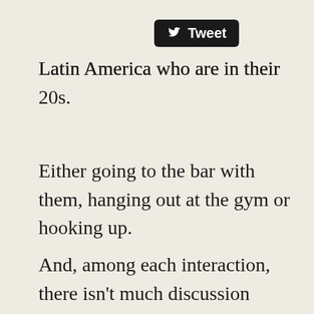[Figure (other): Twitter Tweet button with bird logo]
Latin America who are in their 20s.
Either going to the bar with them, hanging out at the gym or hooking up.
And, among each interaction, there isn't much discussion about Jesus and there is usually plenty of music that younger